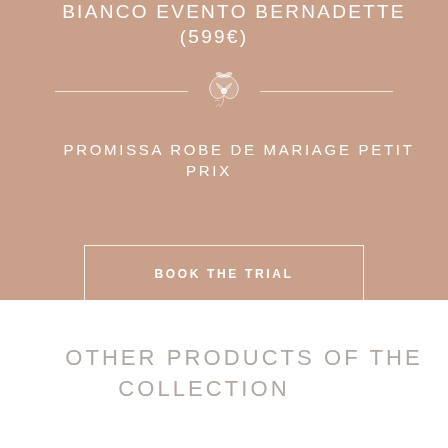BIANCO EVENTO BERNADETTE (599€)
[Figure (illustration): Decorative floral/botanical ornament in white with two horizontal lines on either side]
PROMISSA ROBE DE MARIAGE PETIT PRIX
BOOK THE TRIAL
OTHER PRODUCTS OF THE COLLECTION